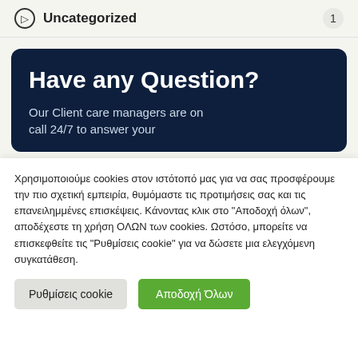Uncategorized  1
Have any Question?
Our Client care managers are on call 24/7 to answer your
Χρησιμοποιούμε cookies στον ιστότοπό μας για να σας προσφέρουμε την πιο σχετική εμπειρία, θυμόμαστε τις προτιμήσεις σας και τις επανειλημμένες επισκέψεις. Κάνοντας κλικ στο "Αποδοχή όλων", αποδέχεστε τη χρήση ΟΛΩΝ των cookies. Ωστόσο, μπορείτε να επισκεφθείτε τις "Ρυθμίσεις cookie" για να δώσετε μια ελεγχόμενη συγκατάθεση.
Ρυθμίσεις cookie
Αποδοχή Όλων